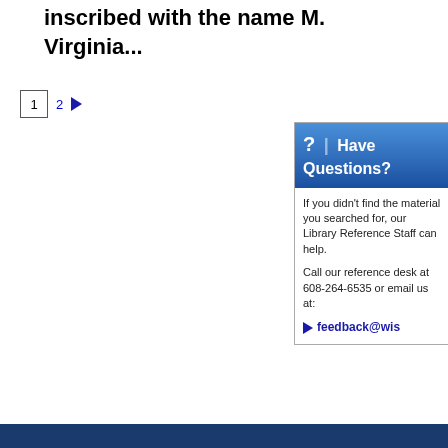inscribed with the name M. Virginia...
1  2  ▶
? | Have Questions?
If you didn't find the material you searched for, our Library Reference Staff can help.
Call our reference desk at 608-264-6535 or email us at:
feedback@wis...